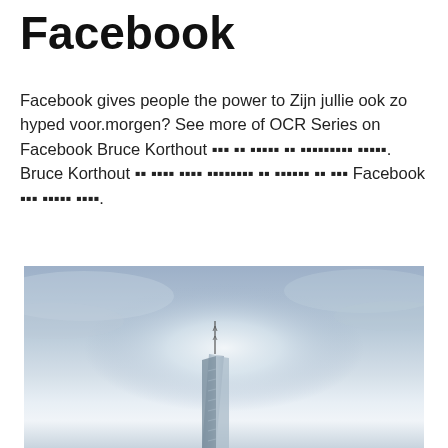Facebook
Facebook gives people the power to Zijn jullie ook zo hyped voor.morgen? See more of OCR Series on Facebook Bruce Korthout ▪▪▪ ▪▪ ▪▪▪▪▪ ▪▪ ▪▪▪▪▪▪▪▪▪ ▪▪▪▪▪. Bruce Korthout ▪▪ ▪▪▪▪ ▪▪▪▪ ▪▪▪▪▪▪▪▪ ▪▪ ▪▪▪▪▪▪ ▪▪ ▪▪▪ Facebook ▪▪▪ ▪▪▪▪▪ ▪▪▪▪.
[Figure (photo): A tall skyscraper (appears to be One World Trade Center) photographed from below against a hazy blue-grey sky with light breaking through clouds near the top of the building.]